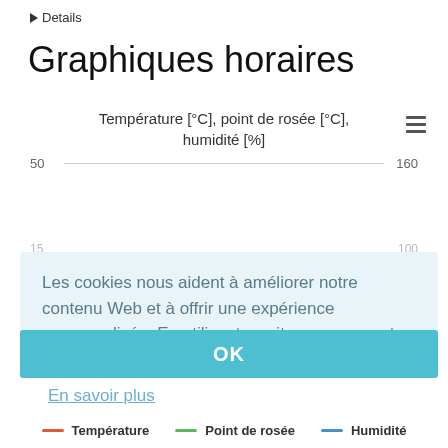▶ Details
Graphiques horaires
Température [°C], point de rosée [°C], humidité [%]
[Figure (continuous-plot): Partial chart with dual y-axes showing range 50 to 160, obscured by cookie consent overlay]
Les cookies nous aident à améliorer notre contenu Web et à offrir une expérience personnalisée. En utilisant ce site, vous acceptez notre utilisation des cookies.
En savoir plus
OK
— Température     — Point de rosée     — Humidité